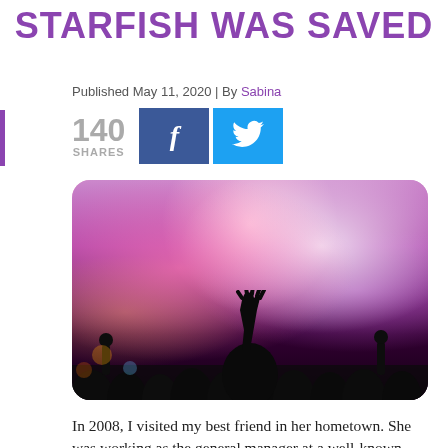STARFISH WAS SAVED
Published May 11, 2020 | By Sabina
140 SHARES
[Figure (photo): Concert crowd photo with silhouetted hand raised in the air, pink and purple stage lighting in the background]
In 2008, I visited my best friend in her hometown. She was working as the general manager at a well-known local hotel. When I arrived she warned me